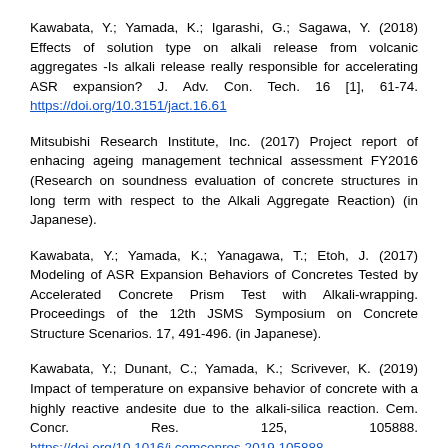Kawabata, Y.; Yamada, K.; Igarashi, G.; Sagawa, Y. (2018) Effects of solution type on alkali release from volcanic aggregates -Is alkali release really responsible for accelerating ASR expansion? J. Adv. Con. Tech. 16 [1], 61-74. https://doi.org/10.3151/jact.16.61
Mitsubishi Research Institute, Inc. (2017) Project report of enhacing ageing management technical assessment FY2016 (Research on soundness evaluation of concrete structures in long term with respect to the Alkali Aggregate Reaction) (in Japanese).
Kawabata, Y.; Yamada, K.; Yanagawa, T.; Etoh, J. (2017) Modeling of ASR Expansion Behaviors of Concretes Tested by Accelerated Concrete Prism Test with Alkali-wrapping. Proceedings of the 12th JSMS Symposium on Concrete Structure Scenarios. 17, 491-496. (in Japanese).
Kawabata, Y.; Dunant, C.; Yamada, K.; Scrivever, K. (2019) Impact of temperature on expansive behavior of concrete with a highly reactive andesite due to the alkali-silica reaction. Cem. Concr. Res. 125, 105888. https://doi.org/10.1016/j.cemconres.2019.105888
Kawabata, Y.; Yamada, K.; Ogawa, S.; Sagawa, Y. (2019)